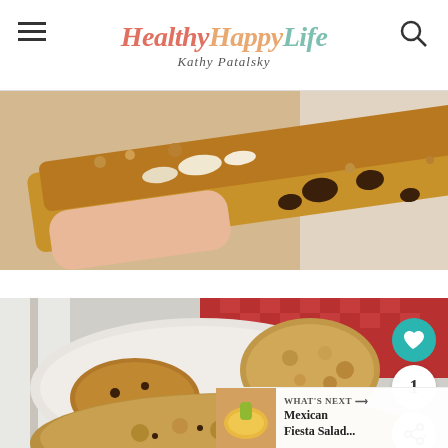HealthyHappyLife - Kathy Patalsky
[Figure (photo): Close-up of a hand holding a granola-topped baked bar with chocolate chips and coconut flakes, blurred white background]
[Figure (photo): Plate of assorted cookies including chocolate chip oatmeal cookies and a round flat cookie, with red checkered tablecloth in background. Social sharing buttons overlay. What's Next banner showing Mexican Fiesta Salad.]